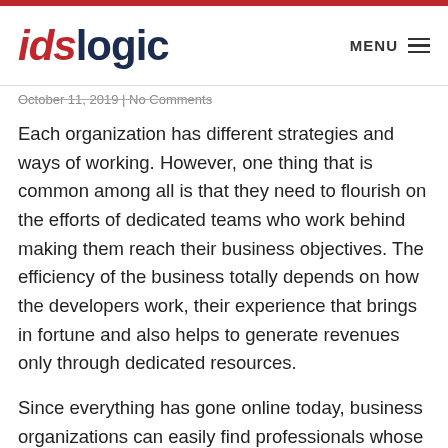ids logic | MENU
October 11, 2019 | No Comments
Each organization has different strategies and ways of working. However, one thing that is common among all is that they need to flourish on the efforts of dedicated teams who work behind making them reach their business objectives. The efficiency of the business totally depends on how the developers work, their experience that brings in fortune and also helps to generate revenues only through dedicated resources.
Since everything has gone online today, business organizations can easily find professionals whose profile fits well as per their needs and they are selected from among